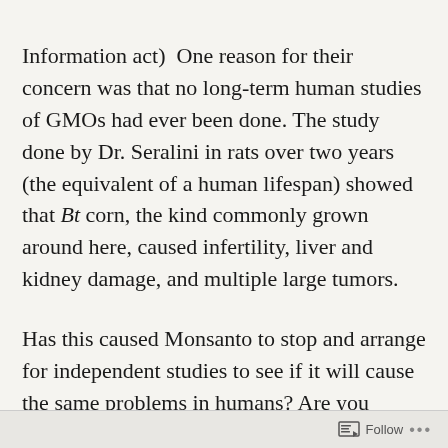Information act)  One reason for their concern was that no long-term human studies of GMOs had ever been done. The study done by Dr. Seralini in rats over two years (the equivalent of a human lifespan) showed that Bt corn, the kind commonly grown around here, caused infertility, liver and kidney damage, and multiple large tumors.
Has this caused Monsanto to stop and arrange for independent studies to see if it will cause the same problems in humans? Are you kidding? No, they have raced ahead with a variety of other GMO seeds, all of which have not been studied in humans…
Follow